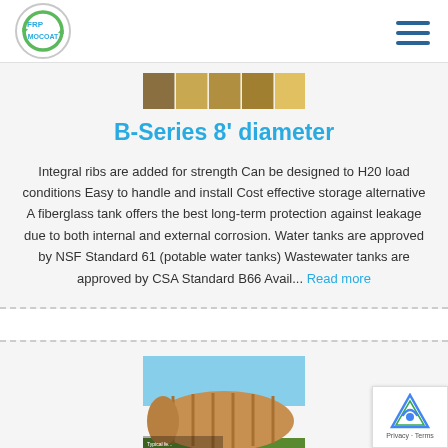FRP MOCOAT logo and navigation
[Figure (photo): Thumbnail strip of product images at top of first card]
B-Series 8' diameter
Integral ribs are added for strength Can be designed to H20 load conditions Easy to handle and install Cost effective storage alternative A fiberglass tank offers the best long-term protection against leakage due to both internal and external corrosion. Water tanks are approved by NSF Standard 61 (potable water tanks) Wastewater tanks are approved by CSA Standard B66 Avail... Read more
[Figure (photo): Photograph of a large ribbed fiberglass tank (brown/orange) against a blue sky, partly visible at bottom of page]